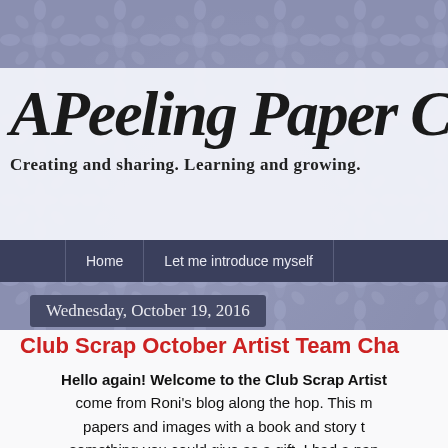APeeling Paper C
Creating and sharing. Learning and growing.
Home | Let me introduce myself
Wednesday, October 19, 2016
Club Scrap October Artist Team Cha
Hello again! Welcome to the Club Scrap Artist come from Roni's blog along the hop. This m papers and images with a book and story t something you could give as a gift. I had a pap with all gives each other a little giftie. Perf